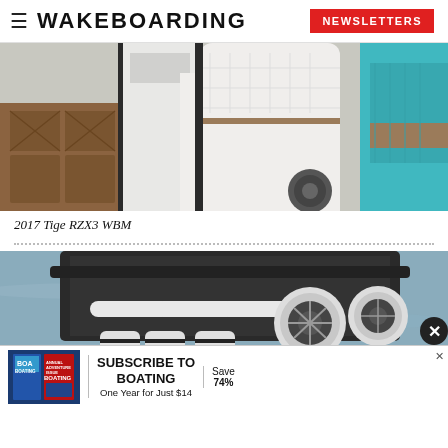WAKEBOARDING | NEWSLETTERS
[Figure (photo): Interior of a wakeboarding boat showing white quilted upholstery captain's seat, teak wood floor panels, and teal/brown accent colors]
2017 Tige RZX3 WBM
[Figure (photo): Exterior of a wakeboarding boat showing tower speakers and wake tower hardware against water background]
[Figure (advertisement): Subscribe to Boating - One Year for Just $14, Save 74% advertisement with Boating magazine covers]